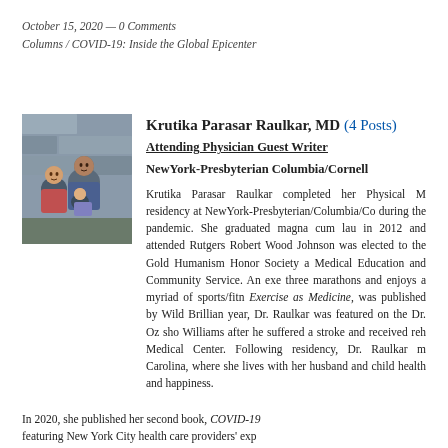October 15, 2020 — 0 Comments
Columns / COVID-19: Inside the Global Epicenter
[Figure (photo): Photo of Krutika Parasar Raulkar with family members, outdoor setting with stone wall background]
Krutika Parasar Raulkar, MD (4 Posts)
Attending Physician Guest Writer
NewYork-Presbyterian Columbia/Cornell
Krutika Parasar Raulkar completed her Physical M residency at NewYork-Presbyterian/Columbia/Co during the pandemic. She graduated magna cum lau in 2012 and attended Rutgers Robert Wood Johnson was elected to the Gold Humanism Honor Society a Medical Education and Community Service. An exe three marathons and enjoys a myriad of sports/fitn Exercise as Medicine, was published by Wild Brillian year, Dr. Raulkar was featured on the Dr. Oz sho Williams after he suffered a stroke and received reh Medical Center. Following residency, Dr. Raulkar m Carolina, where she lives with her husband and child health and happiness.
In 2020, she published her second book, COVID-19 featuring New York City health care providers' exp